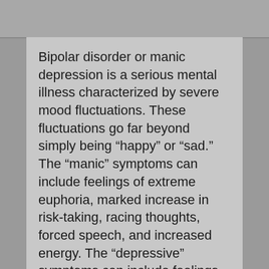Bipolar disorder or manic depression is a serious mental illness characterized by severe mood fluctuations. These fluctuations go far beyond simply being “happy” or “sad.” The “manic” symptoms can include feelings of extreme euphoria, marked increase in risk-taking, racing thoughts, forced speech, and increased energy. The “depressive” symptoms can include feelings of extreme sadness or hopelessness, fatigue/lethargy, changes in appetite, inability to concentrate, and suicidal/morbid thoughts. There are several types of